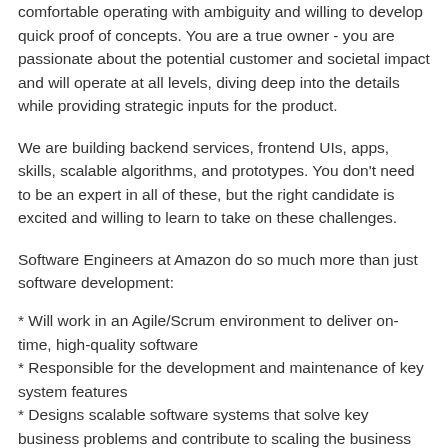comfortable operating with ambiguity and willing to develop quick proof of concepts. You are a true owner - you are passionate about the potential customer and societal impact and will operate at all levels, diving deep into the details while providing strategic inputs for the product.
We are building backend services, frontend UIs, apps, skills, scalable algorithms, and prototypes. You don't need to be an expert in all of these, but the right candidate is excited and willing to learn to take on these challenges.
Software Engineers at Amazon do so much more than just software development:
* Will work in an Agile/Scrum environment to deliver on-time, high-quality software
* Responsible for the development and maintenance of key system features
* Designs scalable software systems that solve key business problems and contribute to scaling the business
* Knowledge of professional software engineering practices & best practices for the full software development life cycle, including agile development, coding standards, code